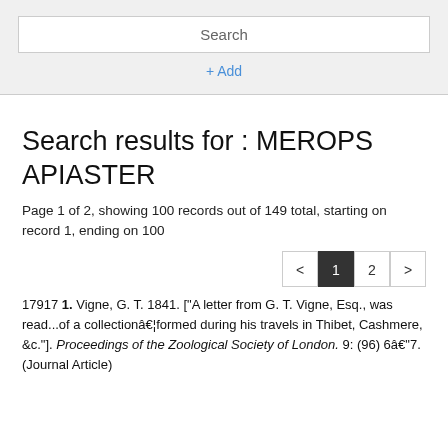Search
+ Add
Search results for : MEROPS APIASTER
Page 1 of 2, showing 100 records out of 149 total, starting on record 1, ending on 100
< 1 2 >
17917 1. Vigne, G. T. 1841. ["A letter from G. T. Vigne, Esq., was read...of a collectionâ€¦formed during his travels in Thibet, Cashmere, &c."]. Proceedings of the Zoological Society of London. 9: (96) 6â€“7. (Journal Article)